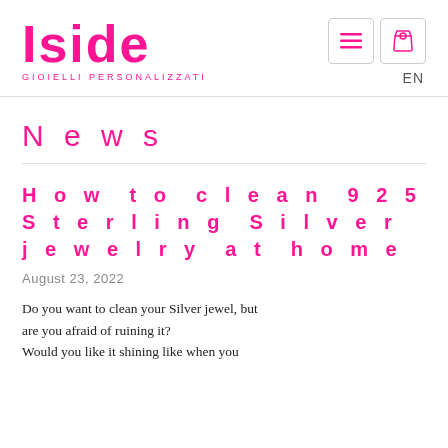[Figure (logo): Iside Gioielli Personalizzati logo in hot pink]
EN
News
How to clean 925 Sterling Silver jewelry at home
August 23, 2022
Do you want to clean your Silver jewel, but are you afraid of ruining it?
Would you like it shining like when you